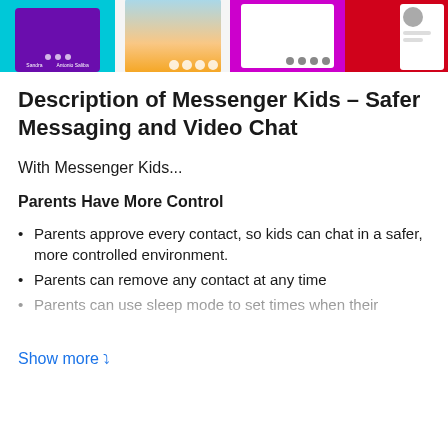[Figure (screenshot): App store screenshot strip showing four screenshots of Messenger Kids app: purple UI with contact dots, video chat with smiling child, magenta/pink UI with icons, and a red background with sidebar thumbnail.]
Description of Messenger Kids – Safer Messaging and Video Chat
With Messenger Kids...
Parents Have More Control
Parents approve every contact, so kids can chat in a safer, more controlled environment.
Parents can remove any contact at any time
Parents can use sleep mode to set times when their
Show more ▾